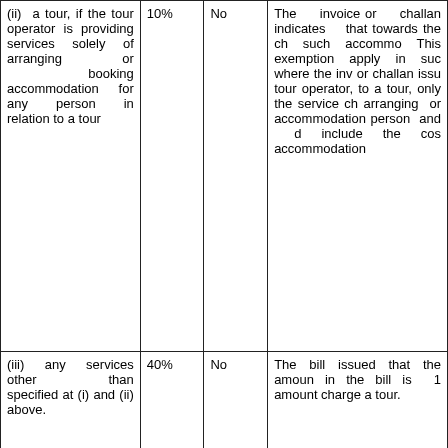| Service Description | Percentage | Cenvat Credit | Condition |
| --- | --- | --- | --- |
| (ii) a tour, if the tour operator is providing services solely of arranging or booking accommodation for any person in relation to a tour | 10% | No | The invoice or challan indicates that towards the ch such accommo This exemption apply in suc where the inv or challan issu tour operator, to a tour, only the service ch arranging or accommodation person and d include the cos accommodation |
| (iii) any services other than specified at (i) and (ii) above. | 40% | No | The bill issued that the amoun in the bill is amount charge a tour. |